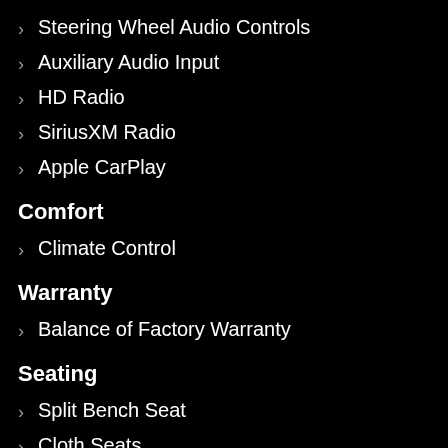Steering Wheel Audio Controls
Auxiliary Audio Input
HD Radio
SiriusXM Radio
Apple CarPlay
Comfort
Climate Control
Warranty
Balance of Factory Warranty
Seating
Split Bench Seat
Cloth Seats
Pass-Through Rear Seat
Power Driver Seat